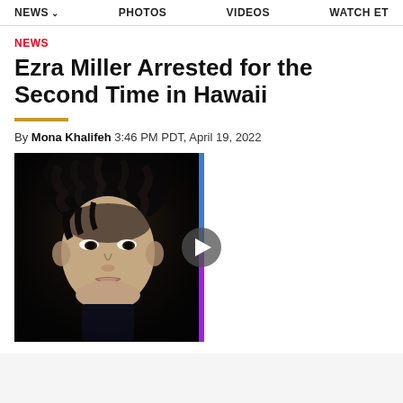NEWS | PHOTOS | VIDEOS | WATCH ET
NEWS
Ezra Miller Arrested for the Second Time in Hawaii
By Mona Khalifeh 3:46 PM PDT, April 19, 2022
[Figure (photo): Split image: left side shows Ezra Miller in a dark moody press photo with curly dark hair; right side shows a mugshot-style photo of Ezra Miller with longer dark hair. A play button overlay appears in the center, with a blue and purple vertical stripe divider between the two photos.]